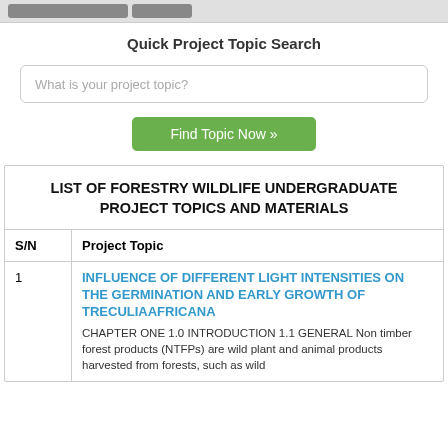Quick Project Topic Search
What is your project topic?
Find Topic Now »
LIST OF FORESTRY WILDLIFE UNDERGRADUATE PROJECT TOPICS AND MATERIALS
| S/N | Project Topic |
| --- | --- |
| 1 | INFLUENCE OF DIFFERENT LIGHT INTENSITIES ON THE GERMINATION AND EARLY GROWTH OF TRECULIAAFRICANA
CHAPTER ONE 1.0 INTRODUCTION 1.1 GENERAL Non timber forest products (NTFPs) are wild plant and animal products harvested from forests, such as wild |